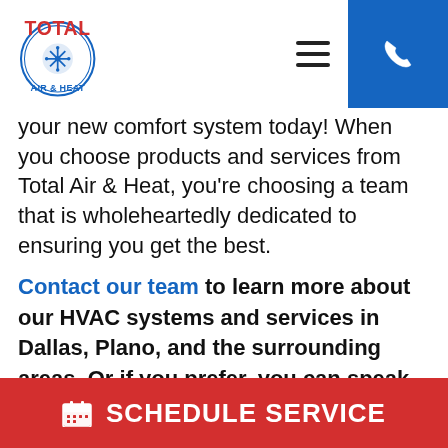[Figure (logo): Total Air & Heat logo with red text and circular emblem]
your new comfort system today! When you choose products and services from Total Air & Heat, you're choosing a team that is wholeheartedly dedicated to ensuring you get the best.
Contact our team to learn more about our HVAC systems and services in Dallas, Plano, and the surrounding areas. Or if you prefer, you can speak with a Total Air & Heat professional any time by calling 866-442-2821!
SCHEDULE SERVICE